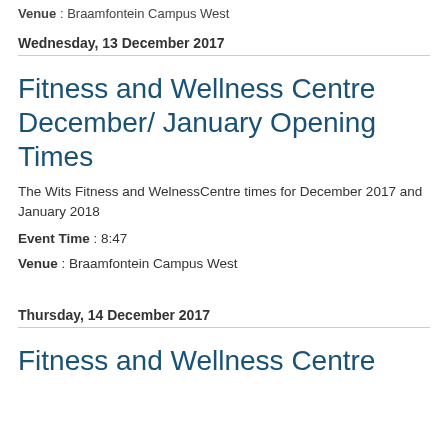Venue : Braamfontein Campus West
Wednesday, 13 December 2017
Fitness and Wellness Centre December/ January Opening Times
The Wits Fitness and WelnessCentre times for December 2017 and January 2018
Event Time : 8:47
Venue : Braamfontein Campus West
Thursday, 14 December 2017
Fitness and Wellness Centre